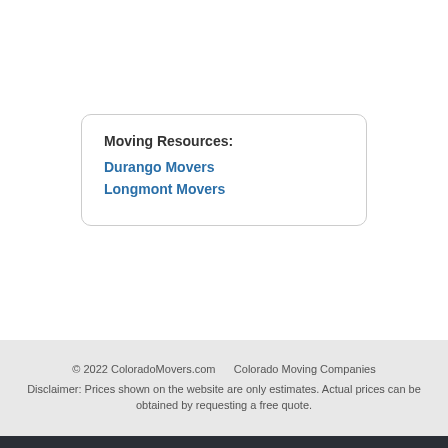Moving Resources:
Durango Movers
Longmont Movers
© 2022 ColoradoMovers.com      Colorado Moving Companies
Disclaimer: Prices shown on the website are only estimates. Actual prices can be obtained by requesting a free quote.